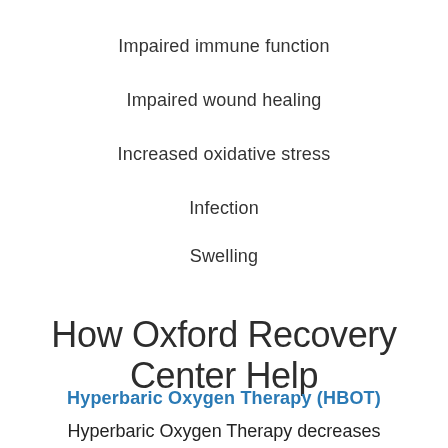Impaired immune function
Impaired wound healing
Increased oxidative stress
Infection
Swelling
How Oxford Recovery Center Help
Hyperbaric Oxygen Therapy (HBOT)
Hyperbaric Oxygen Therapy decreases inflammation, oxygenates the entire body, stimulates the growth of new